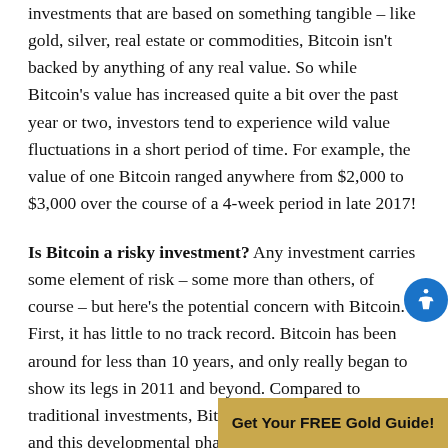investments that are based on something tangible – like gold, silver, real estate or commodities, Bitcoin isn't backed by anything of any real value. So while Bitcoin's value has increased quite a bit over the past year or two, investors tend to experience wild value fluctuations in a short period of time. For example, the value of one Bitcoin ranged anywhere from $2,000 to $3,000 over the course of a 4-week period in late 2017!
Is Bitcoin a risky investment? Any investment carries some element of risk – some more than others, of course – but here's the potential concern with Bitcoin. First, it has little to no track record. Bitcoin has been around for less than 10 years, and only really began to show its legs in 2011 and beyond. Compared to traditional investments, Bitcoin is still in its infancy, and this developmental phase in the currency's lifespan makes it a high-risk, high-return option today. Another concern is
Get Your FREE Gold Guide!